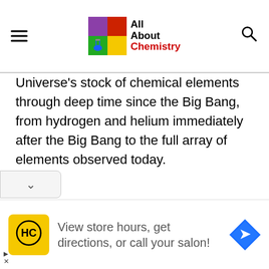All About Chemistry
Universe's stock of chemical elements through deep time since the Big Bang, from hydrogen and helium immediately after the Big Bang to the full array of elements observed today.
[Figure (other): Advertisement banner: HC logo on yellow background, text 'View store hours, get directions, or call your salon!' with a blue navigation arrow icon]